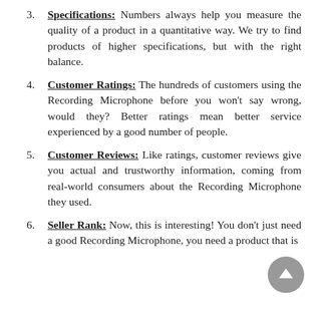3. Specifications: Numbers always help you measure the quality of a product in a quantitative way. We try to find products of higher specifications, but with the right balance.
4. Customer Ratings: The hundreds of customers using the Recording Microphone before you won't say wrong, would they? Better ratings mean better service experienced by a good number of people.
5. Customer Reviews: Like ratings, customer reviews give you actual and trustworthy information, coming from real-world consumers about the Recording Microphone they used.
6. Seller Rank: Now, this is interesting! You don't just need a good Recording Microphone, you need a product that is